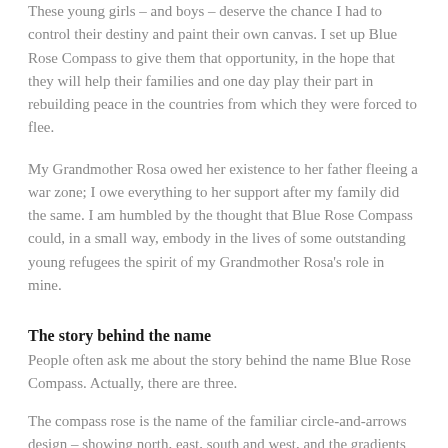These young girls – and boys – deserve the chance I had to control their destiny and paint their own canvas. I set up Blue Rose Compass to give them that opportunity, in the hope that they will help their families and one day play their part in rebuilding peace in the countries from which they were forced to flee.
My Grandmother Rosa owed her existence to her father fleeing a war zone; I owe everything to her support after my family did the same. I am humbled by the thought that Blue Rose Compass could, in a small way, embody in the lives of some outstanding young refugees the spirit of my Grandmother Rosa's role in mine.
The story behind the name
People often ask me about the story behind the name Blue Rose Compass. Actually, there are three.
The compass rose is the name of the familiar circle-and-arrows design – showing north, east, south and west, and the gradients in between – which helps us to find our way when we are lost. Blue